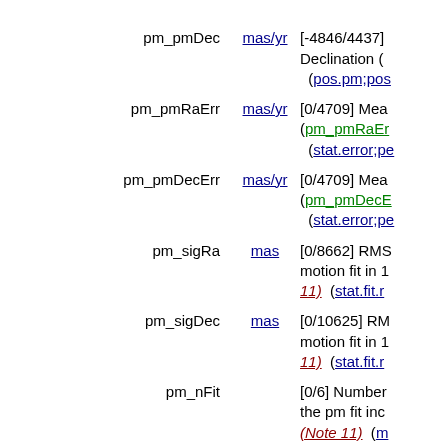11) (pos.pm...
pm_pmDec | mas/yr | [-4846/4437] Declination ( (pos.pm;pos...
pm_pmRaErr | mas/yr | [0/4709] Mea... (pm_pmRaEr... (stat.error;pe...
pm_pmDecErr | mas/yr | [0/4709] Mea... (pm_pmDecE... (stat.error;pe...
pm_sigRa | mas | [0/8662] RMS motion fit in ... 11) (stat.fit.r...
pm_sigDec | mas | [0/10625] RMS motion fit in ... 11) (stat.fit.r...
pm_nFit | | [0/6] Number... the pm fit inc... (Note 11) (n...
pm_O | | [-214740/701... USNO-B O p... SDSS g (pm_... (phot.mag;e...
pm_E... | | Magnitude f...